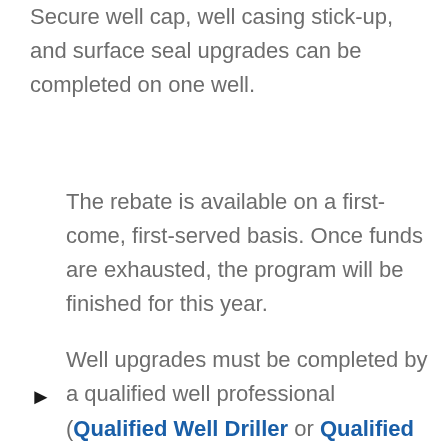Secure well cap, well casing stick-up, and surface seal upgrades can be completed on one well.
The rebate is available on a first-come, first-served basis. Once funds are exhausted, the program will be finished for this year.

Well upgrades must be completed by a qualified well professional (Qualified Well Driller or Qualified [continues]